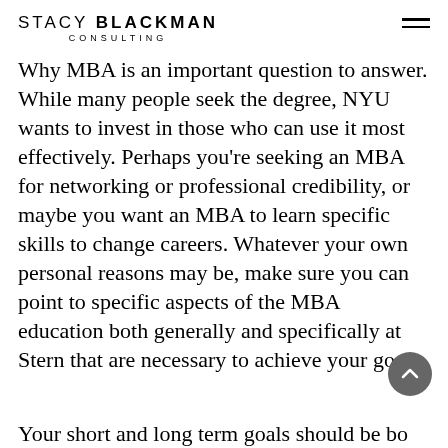STACY BLACKMAN CONSULTING
Why MBA is an important question to answer. While many people seek the degree, NYU wants to invest in those who can use it most effectively. Perhaps you're seeking an MBA for networking or professional credibility, or maybe you want an MBA to learn specific skills to change careers. Whatever your own personal reasons may be, make sure you can point to specific aspects of the MBA education both generally and specifically at Stern that are necessary to achieve your goals.
Your short and long term goals should be bo...